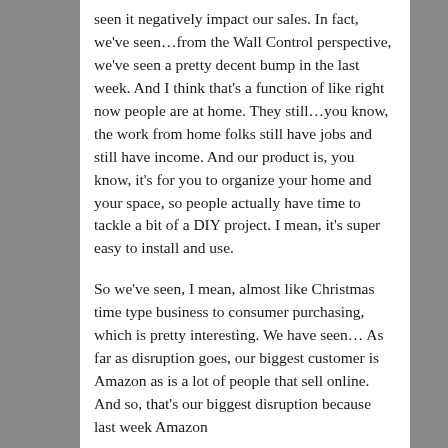seen it negatively impact our sales. In fact, we've seen…from the Wall Control perspective, we've seen a pretty decent bump in the last week. And I think that's a function of like right now people are at home. They still…you know, the work from home folks still have jobs and still have income. And our product is, you know, it's for you to organize your home and your space, so people actually have time to tackle a bit of a DIY project. I mean, it's super easy to install and use.
So we've seen, I mean, almost like Christmas time type business to consumer purchasing, which is pretty interesting. We have seen… As far as disruption goes, our biggest customer is Amazon as is a lot of people that sell online. And so, that's our biggest disruption because last week Amazon